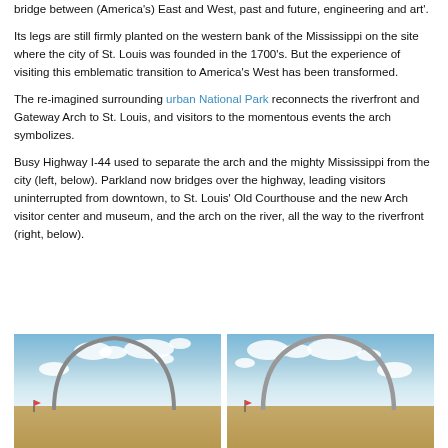bridge between (America's) East and West, past and future, engineering and art'.
Its legs are still firmly planted on the western bank of the Mississippi on the site where the city of St. Louis was founded in the 1700's. But the experience of visiting this emblematic transition to America's West has been transformed.
The re-imagined surrounding urban National Park reconnects the riverfront and Gateway Arch to St. Louis, and visitors to the momentous events the arch symbolizes.
Busy Highway I-44 used to separate the arch and the mighty Mississippi from the city (left, below). Parkland now bridges over the highway, leading visitors uninterrupted from downtown, to St. Louis' Old Courthouse and the new Arch visitor center and museum, and the arch on the river, all the way to the riverfront (right, below).
[Figure (photo): Left photo showing the Gateway Arch against a blue sky with clouds, with warm ground/earth at the base.]
[Figure (photo): Right photo showing the Gateway Arch against a blue sky with clouds, with warm ground/earth at the base.]